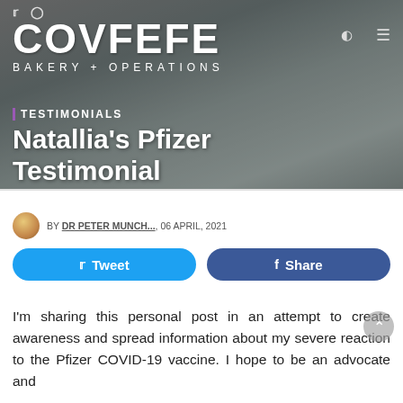[Figure (photo): Website header photo showing a person in a hospital gown seated, with medical equipment visible in background. COVFEFE BAKERY + OPERATIONS logo overlaid in white text.]
TESTIMONIALS
Natallia's Pfizer Testimonial
BY DR PETER MUNCH..., 06 APRIL, 2021
Tweet   Share
I'm sharing this personal post in an attempt to create awareness and spread information about my severe reaction to the Pfizer COVID-19 vaccine. I hope to be an advocate and